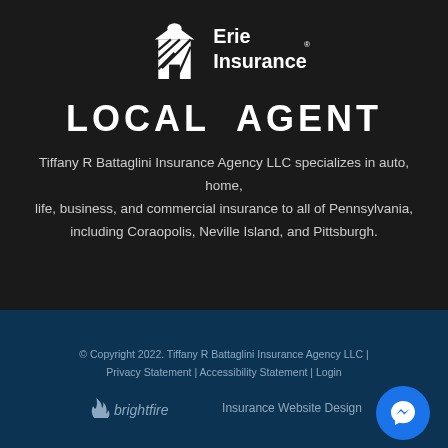[Figure (logo): Erie Insurance logo with building/house icon and text 'Erie Insurance']
LOCAL AGENT
Tiffany R Battaglini Insurance Agency LLC specializes in auto, home, life, business, and commercial insurance to all of Pennsylvania, including Coraopolis, Neville Island, and Pittsburgh.
© Copyright 2022. Tiffany R Battaglini Insurance Agency LLC | Privacy Statement | Accessibility Statement | Login
[Figure (logo): BrightFire logo with text 'brightfire Insurance Website Design']